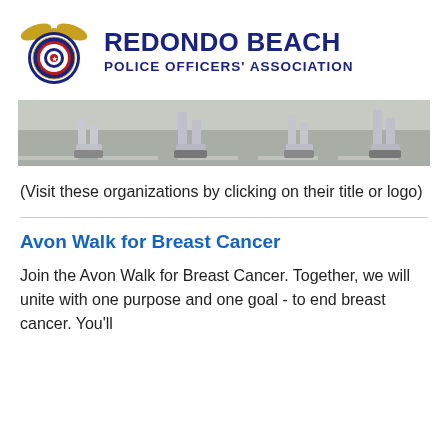[Figure (logo): Redondo Beach Police Officers' Association logo: circular badge with eagle on top, blue and red design]
REDONDO BEACH POLICE OFFICERS' ASSOCIATION
[Figure (photo): Photo strip showing runners' legs and feet on pavement during a walk/run event]
(Visit these organizations by clicking on their title or logo)
Avon Walk for Breast Cancer
Join the Avon Walk for Breast Cancer. Together, we will unite with one purpose and one goal - to end breast cancer. You'll